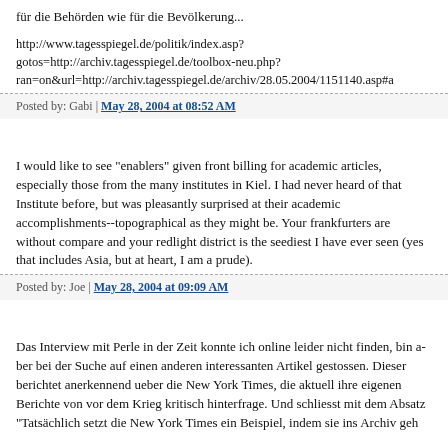für die Behörden wie für die Bevölkerung...
http://www.tagesspiegel.de/politik/index.asp?gotos=http://archiv.tagesspiegel.de/toolbox-neu.php?ran=on&url=http://archiv.tagesspiegel.de/archiv/28.05.2004/1151140.asp#a
Posted by: Gabi | May 28, 2004 at 08:52 AM
I would like to see "enablers" given front billing for academic articles, especially those from the many institutes in Kiel. I had never heard of that Institute before, but was pleasantly surprised at their academic accomplishments--topographical as they might be. Your frankfurters are without compare and your redlight district is the seediest I have ever seen (yes that includes Asia, but at heart, I am a prude).
Posted by: Joe | May 28, 2004 at 09:09 AM
Das Interview mit Perle in der Zeit konnte ich online leider nicht finden, bin aber bei der Suche auf einen anderen interessanten Artikel gestossen. Dieser berichtet anerkennend ueber die New York Times, die aktuell ihre eigenen Berichte von vor dem Krieg kritisch hinterfrage. Und schliesst mit dem Absatz: "Tatsächlich setzt die New York Times ein Beispiel, indem sie ins Archiv geh